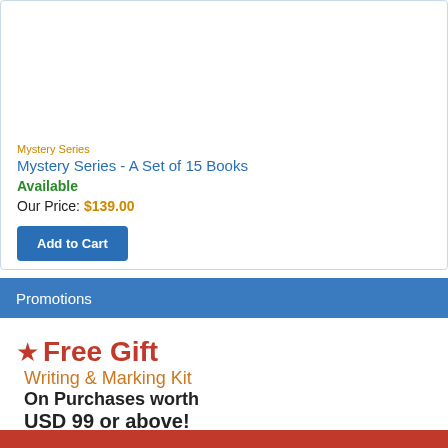Mystery Series
Mystery Series - A Set of 15 Books
Available
Our Price: $139.00
Add to Cart
Promotions
★ Free Gift
Writing & Marking Kit
On Purchases worth
USD 99 or above!